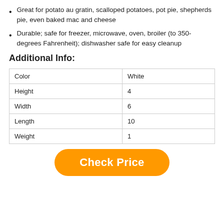Great for potato au gratin, scalloped potatoes, pot pie, shepherds pie, even baked mac and cheese
Durable; safe for freezer, microwave, oven, broiler (to 350-degrees Fahrenheit); dishwasher safe for easy cleanup
Additional Info:
| Color | White |
| Height | 4 |
| Width | 6 |
| Length | 10 |
| Weight | 1 |
Check Price